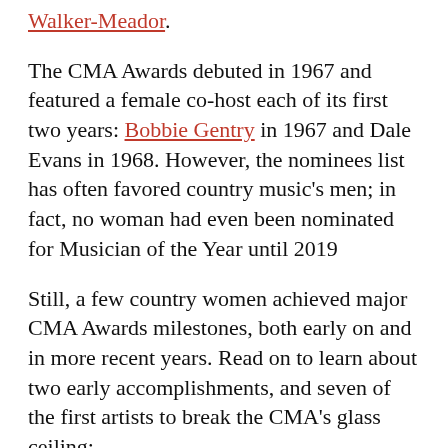Walker-Meador.
The CMA Awards debuted in 1967 and featured a female co-host each of its first two years: Bobbie Gentry in 1967 and Dale Evans in 1968. However, the nominees list has often favored country music's men; in fact, no woman had even been nominated for Musician of the Year until 2019
Still, a few country women achieved major CMA Awards milestones, both early on and in more recent years. Read on to learn about two early accomplishments, and seven of the first artists to break the CMA's glass ceiling:
The 2020 CMA Awards are scheduled to take place on Nov. 11 and will air live from Nashville on ABC